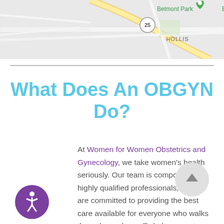[Figure (map): Partial Google Map screenshot showing Belmont Park area, Hollis neighborhood, with a green map pin marker at Belmont Park and route 25 visible.]
What Does An OBGYN Do?
At Women for Women Obstetrics and Gynecology, we take women's health seriously.  Our team is composed of highly qualified professionals, and we are committed to providing the best care available for everyone who walks through our doors.  To help you get a better understanding of the level of care we provide, we'd like to go a bit in